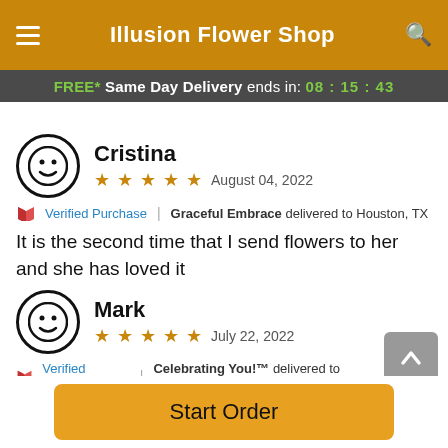Illusion Flower Shop
FREE* Same Day Delivery ends in: 08:15:43
Cristina
★★★★★ August 04, 2022
🔖 Verified Purchase | Graceful Embrace delivered to Houston, TX
It is the second time that I send flowers to her and she has loved it
Mark
★★★★★ July 22, 2022
🔖 Verified Purchase | Celebrating You!™ delivered to Houston, TX
Loved it, thank you. Delivered at a good time and on time
Start Order